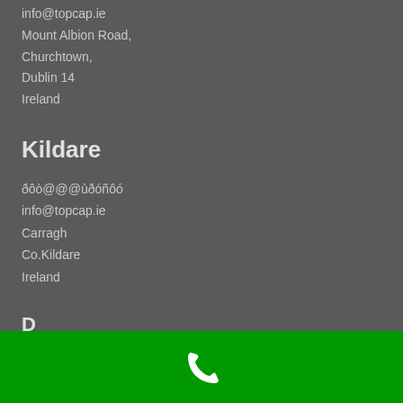887 3380148
info@topcap.ie
Mount Albion Road,
Churchtown,
Dublin 14
Ireland
Kildare
ðôò@@@ùðóñôó
info@topcap.ie
Carragh
Co.Kildare
Ireland
D...
[Figure (illustration): Green bar at bottom with white phone handset icon]